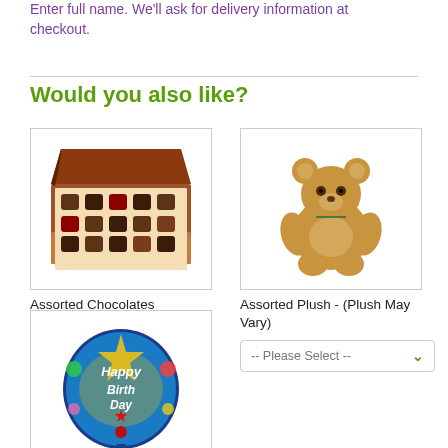Enter full name. We'll ask for delivery information at checkout.
Would you also like?
[Figure (photo): Box of assorted chocolates]
Assorted Chocolates
[Figure (photo): Assorted plush teddy bear]
Assorted Plush - (Plush May Vary)
[Figure (photo): Happy Birthday balloon, round colorful balloon]